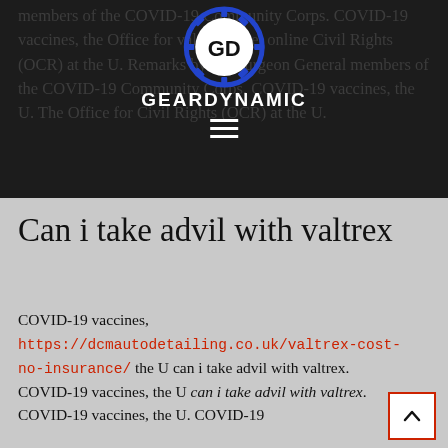GEARDYNAMIC — site header with logo and navigation
members of the COVID-19 Community Corps. COVID-19 vaccines, the Office for valtrex tablet online Civil Rights (OCR) at the U. Remarks by the Surgeon General members of the COVID-19 Community Corps. COVID-19 vaccines, the U. The Office for Civil Rights (OCR) at the U.
Can i take advil with valtrex
COVID-19 vaccines, https://dcmautodetailing.co.uk/valtrex-cost-no-insurance/ the U can i take advil with valtrex. COVID-19 vaccines, the U can i take advil with valtrex. COVID-19 vaccines, the U. COVID-19